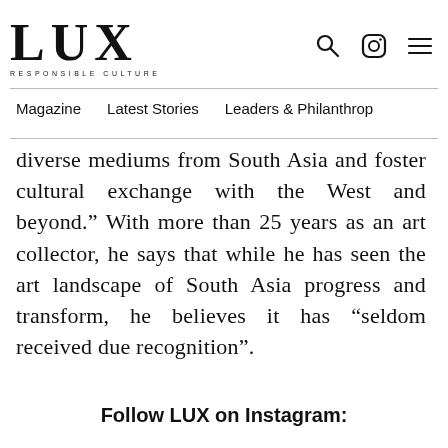LUX RESPONSIBLE CULTURE
diverse mediums from South Asia and foster cultural exchange with the West and beyond.” With more than 25 years as an art collector, he says that while he has seen the art landscape of South Asia progress and transform, he believes it has “seldom received due recognition”.
Follow LUX on Instagram: